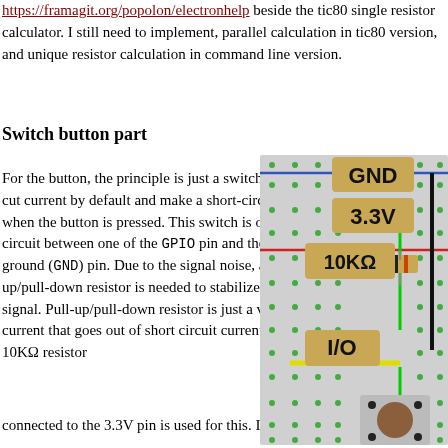https://framagit.org/popolon/electronhelp beside the tic80 single resistor calculator. I still need to implement, parallel calculation in tic80 version, and unique resistor calculation in command line version.
Switch button part
For the button, the principle is just a switch, that cut current by default and make a short-circuit when the button is pressed. This switch is on a circuit between one of the GPIO pin and the ground (GND) pin. Due to the signal noise, a pull-up/pull-down resistor is needed to stabilize the signal. Pull-up/pull-down resistor is just a very low current that goes out of short circuit current. A 10KΩ resistor connected to the 3.3V pin is used for this. It is called pull-u...
[Figure (engineering-diagram): Breadboard diagram showing GND, 3.3V, 10KΩ resistor, and I/O connections with a push button switch.]